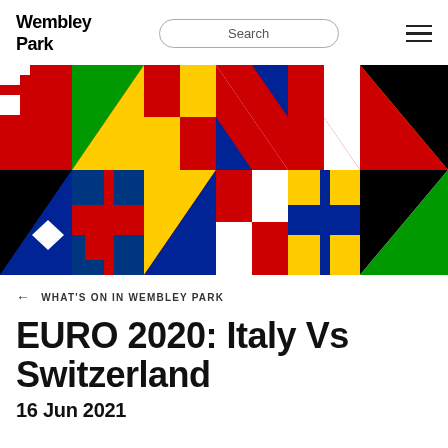Wembley Park
[Figure (illustration): Colorful geometric pattern made of flag-inspired shapes in red, blue, green, yellow, black, and white — representing European national flags for EURO 2020]
← WHAT'S ON IN WEMBLEY PARK
EURO 2020: Italy Vs Switzerland
16 Jun 2021